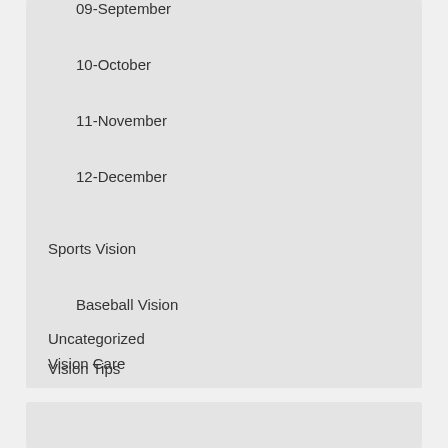09-September
10-October
11-November
12-December
Sports Vision
Baseball Vision
Uncategorized
Vision Care
Vision Tips